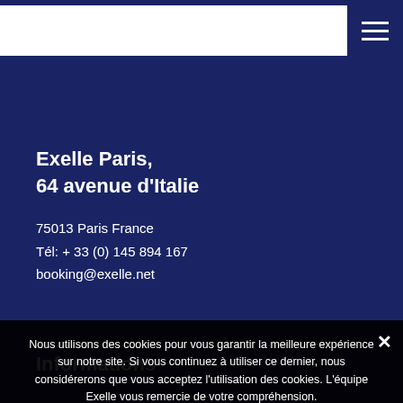Exelle Paris,
64 avenue d'Italie
75013 Paris France
Tél: + 33 (0) 145 894 167
booking@exelle.net
Informations
Nous utilisons des cookies pour vous garantir la meilleure expérience sur notre site. Si vous continuez à utiliser ce dernier, nous considérerons que vous acceptez l'utilisation des cookies. L'équipe Exelle vous remercie de votre compréhension.